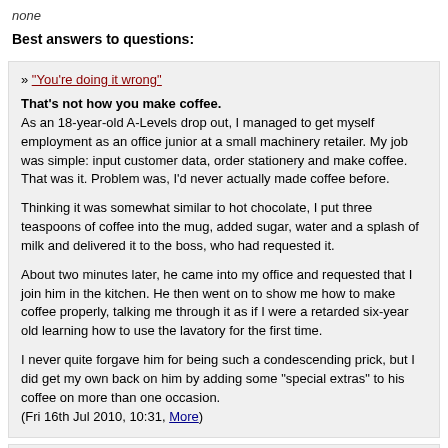none
Best answers to questions:
» "You're doing it wrong"

That's not how you make coffee.
As an 18-year-old A-Levels drop out, I managed to get myself employment as an office junior at a small machinery retailer. My job was simple: input customer data, order stationery and make coffee. That was it. Problem was, I'd never actually made coffee before.

Thinking it was somewhat similar to hot chocolate, I put three teaspoons of coffee into the mug, added sugar, water and a splash of milk and delivered it to the boss, who had requested it.

About two minutes later, he came into my office and requested that I join him in the kitchen. He then went on to show me how to make coffee properly, talking me through it as if I were a retarded six-year old learning how to use the lavatory for the first time.

I never quite forgave him for being such a condescending prick, but I did get my own back on him by adding some "special extras" to his coffee on more than one occasion.
(Fri 16th Jul 2010, 10:31, More)
» Ouch!

Never touch a cat that's been rolling in bleach